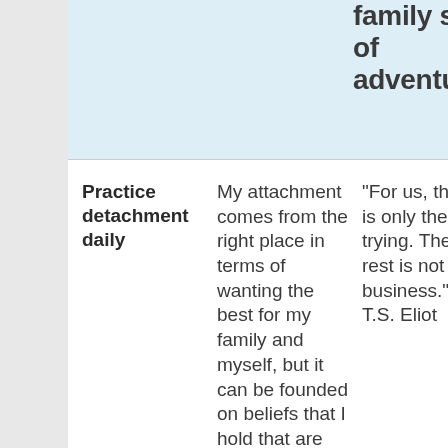family spirit of adventure.
Practice detachment daily
My attachment comes from the right place in terms of wanting the best for my family and myself, but it can be founded on beliefs that I hold that are not necessarily
"For us, there is only the trying. The rest is not our business." ~ T.S. Eliot
This thou abou atta have way myse how desc My atta to th time influ decis mak